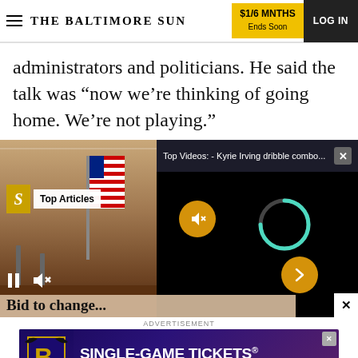THE BALTIMORE SUN | $1/6 MNTHS Ends Soon | LOG IN
administrators and politicians. He said the talk was “now we’re thinking of going home. We’re not playing.”
[Figure (screenshot): Embedded video player showing a government meeting room with an American flag. An overlay popup reads 'Top Videos: - Kyrie Irving dribble combo...' with a black video area showing a teal loading arc and orange mute button. A 'Top Articles' widget with an S logo is visible on the left side.]
Bid to change...
ADVERTISEMENT
[Figure (illustration): Baltimore Ravens advertisement banner: 'SINGLE-GAME TICKETS ON SALE NOW!' with Ravens logo on purple/dark background]